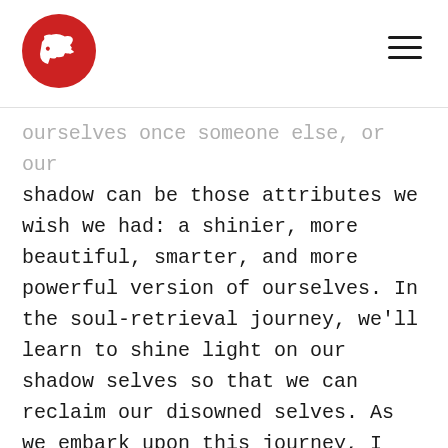[Logo: red circle with white bird silhouette] [Hamburger menu icon]
ourselves once someone else, or our shadow can be those attributes we wish we had: a shinier, more beautiful, smarter, and more powerful version of ourselves. In the soul-retrieval journey, we'll learn to shine light on our shadow selves so that we can reclaim our disowned selves. As we embark upon this journey, I encourage you to trust the process, and remember that we're leaving the ordered realm of reason and logic and are entering into the realm of